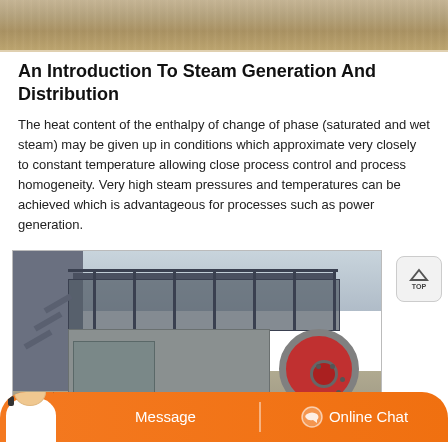[Figure (photo): Top photo showing sandy/gravel ground surface texture, brownish-tan color]
An Introduction To Steam Generation And Distribution
The heat content of the enthalpy of change of phase (saturated and wet steam) may be given up in conditions which approximate very closely to constant temperature allowing close process control and process homogeneity. Very high steam pressures and temperatures can be achieved which is advantageous for processes such as power generation.
[Figure (photo): Industrial mining or crushing machine with metal platform, railings, stairs, and large red flywheel, photographed outdoors]
Message   Online Chat